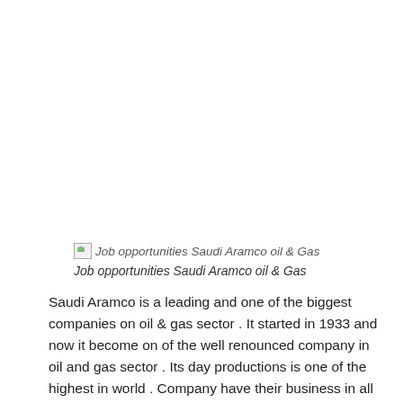[Figure (illustration): Broken image placeholder with alt text 'Job opportunities Saudi Aramco oil & Gas']
Job opportunities Saudi Aramco oil & Gas
Saudi Aramco is a leading and one of the biggest companies on oil & gas sector . It started in 1933 and now it become on of the well renounced company in oil and gas sector . Its day productions is one of the highest in world . Company have their business in all over the world . It needs staff on regular basic for their projects . Now these days company extended their business in different parts of world so